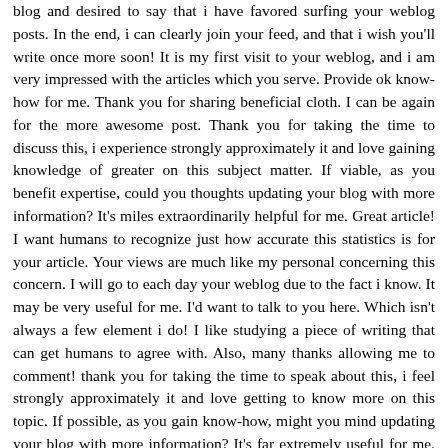blog and desired to say that i have favored surfing your weblog posts. In the end, i can clearly join your feed, and that i wish you'll write once more soon! It is my first visit to your weblog, and i am very impressed with the articles which you serve. Provide ok know-how for me. Thank you for sharing beneficial cloth. I can be again for the more awesome post. Thank you for taking the time to discuss this, i experience strongly approximately it and love gaining knowledge of greater on this subject matter. If viable, as you benefit expertise, could you thoughts updating your blog with more information? It's miles extraordinarily helpful for me. Great article! I want humans to recognize just how accurate this statistics is for your article. Your views are much like my personal concerning this concern. I will go to each day your weblog due to the fact i know. It may be very useful for me. I'd want to talk to you here. Which isn't always a few element i do! I like studying a piece of writing that can get humans to agree with. Also, many thanks allowing me to comment! thank you for taking the time to speak about this, i feel strongly approximately it and love getting to know more on this topic. If possible, as you gain know-how, might you mind updating your blog with more information? It's far extremely useful for me. Advanced put...